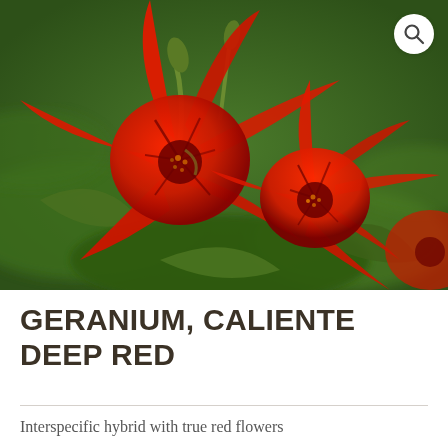[Figure (photo): Close-up photograph of bright red geranium flowers (Caliente Deep Red variety) with dark green foliage in the background. A magnifying glass search icon appears in the upper right corner of the image.]
GERANIUM, CALIENTE DEEP RED
Interspecific hybrid with true red flowers